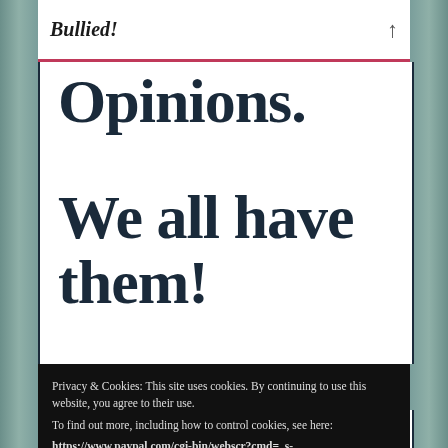Bullied!
Opinions.
We all have them!
Privacy & Cookies: This site uses cookies. By continuing to use this website, you agree to their use.
To find out more, including how to control cookies, see here:
https://www.paypal.com/cgi-bin/webscr?cmd=_s-xclick&hosted_button_id=YEWY9Z2G5N76LayPalButton
Purchase with PayPal